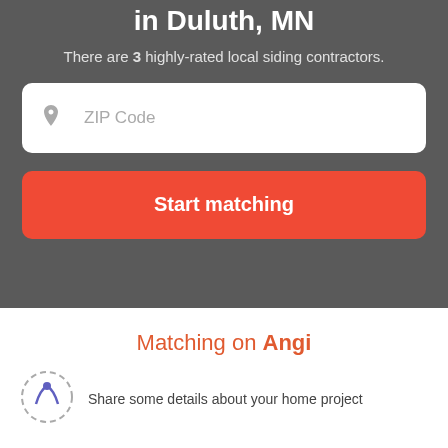in Duluth, MN
There are 3 highly-rated local siding contractors.
ZIP Code
Start matching
Matching on Angi
Share some details about your home project